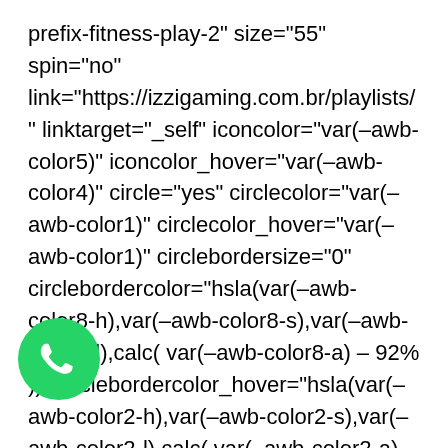prefix-fitness-play-2" size="55" spin="no" link="https://izzigaming.com.br/playlists/" linktarget="_self" iconcolor="var(–awb-color5)" iconcolor_hover="var(–awb-color4)" circle="yes" circlecolor="var(–awb-color1)" circlecolor_hover="var(–awb-color1)" circlebordersize="0" circlebordercolor="hsla(var(–awb-color8-h),var(–awb-color8-s),var(–awb-color8-l),calc( var(–awb-color8-a) – 92%))" circlebordercolor_hover="hsla(var(–awb-color2-h),var(–awb-color2-s),var(–awb-color2-l),calc( var(–awb-color2-a) – 98% ))" alignment="center" hide_on_mobile="small-visibility,medium-visibility,large-visibility" animation_direction="left" animation_speed="0.3" /] [/fusion_builder_column][/fusion_builder_row] [/fusion_builder_container][fusion_builder_container hundred_percent="no" hundred_percent_height="no" hundred_percent_height_scroll="no" hundred_percent_height_center_content="yes" equal_height_columns="yes" hide_on_mobile="small
[Figure (logo): WhatsApp logo: green circle with white phone handset icon]